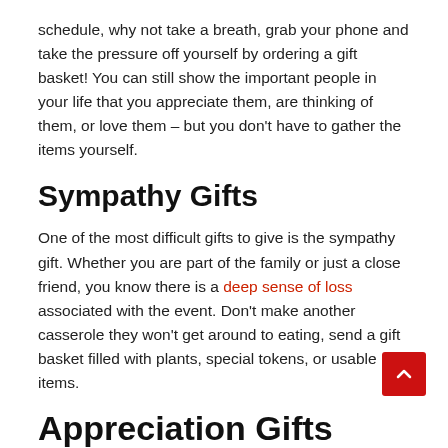schedule, why not take a breath, grab your phone and take the pressure off yourself by ordering a gift basket! You can still show the important people in your life that you appreciate them, are thinking of them, or love them – but you don't have to gather the items yourself.
Sympathy Gifts
One of the most difficult gifts to give is the sympathy gift. Whether you are part of the family or just a close friend, you know there is a deep sense of loss associated with the event. Don't make another casserole they won't get around to eating, send a gift basket filled with plants, special tokens, or usable items.
Appreciation Gifts